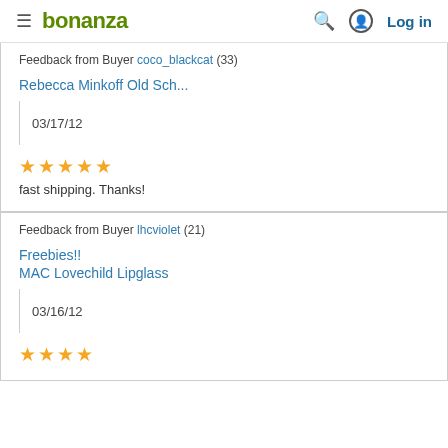bonanza | Log in
Feedback from Buyer coco_blackcat (33)
Rebecca Minkoff Old Sch...
03/17/12
★★★★★
fast shipping. Thanks!
Feedback from Buyer lhcviolet (21)
Freebies!!
MAC Lovechild Lipglass
03/16/12
★★★★★